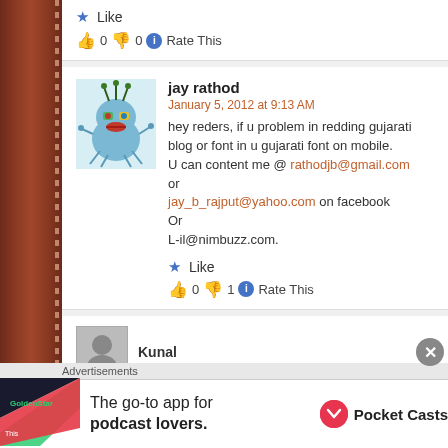★ Like
👍 0 👎 0 ℹ Rate This
jay rathod
January 5, 2012 at 9:13 AM
hey reders, if u problem in redding gujarati blog or font in u gujarati font on mobile.
U can content me @ rathodjb@gmail.com
or
jay_b_rajput@yahoo.com on facebook
Or
L-il@nimbuzz.com.
★ Like
👍 0 👎 1 ℹ Rate This
Kunal
[Figure (illustration): Cartoon monster avatar - blue creature with green antennae, red lips, colorful eyes]
[Figure (illustration): Partially visible avatar for Kunal commenter]
[Figure (advertisement): Pocket Casts advertisement - The go-to app for podcast lovers]